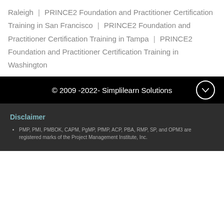Raleigh | PRINCE2 Foundation and Practitioner Certification Training in San Francisco | PRINCE2 Foundation and Practitioner Certification Training in Tampa | PRINCE2 Foundation and Practitioner Certification Training in Washington
© 2009 -2022- Simplilearn Solutions
Disclaimer
PMP, PMI, PMBOK, CAPM, PgMP, PfMP, ACP, PBA, RMP, SP, and OPM3 are registered marks of the Project Management Institute, Inc.